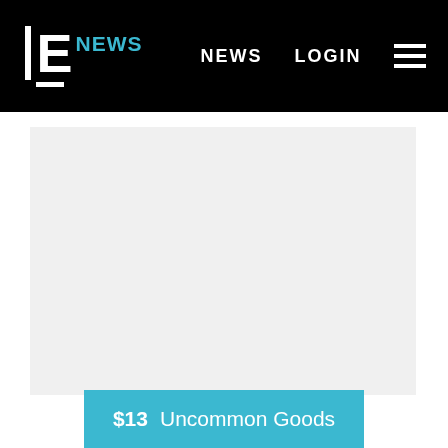[Figure (logo): E! News logo — white 'E' letter with blue 'NEWS' text on black background]
NEWS   LOGIN
[Figure (photo): Large light gray image placeholder rectangle]
$13  Uncommon Goods